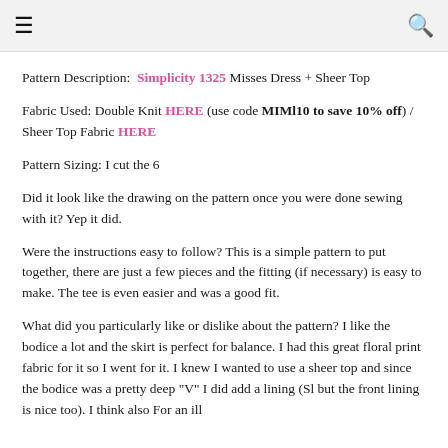≡  🔍
Pattern Description: Simplicity 1325 Misses Dress + Sheer Top
Fabric Used: Double Knit HERE (use code MIMl10 to save 10% off) / Sheer Top Fabric HERE
Pattern Sizing: I cut the 6
Did it look like the drawing on the pattern once you were done sewing with it? Yep it did.
Were the instructions easy to follow? This is a simple pattern to put together, there are just a few pieces and the fitting (if necessary) is easy to make. The tee is even easier and was a good fit.
What did you particularly like or dislike about the pattern? I like the bodice a lot and the skirt is perfect for balance. I had this great floral print fabric for it so I went for it. I knew I wanted to use a sheer top and since the bodice was a pretty deep "V" I did add a lining (Sl but the front lining is nice too). I think also For an ill